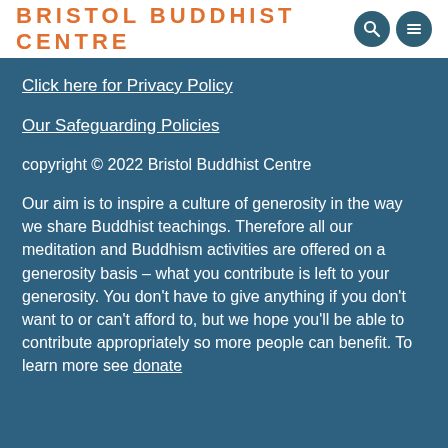BRISTOL BUDDHIST CENTRE
Click here for Privacy Policy
Our Safeguarding Policies
copyright © 2022 Bristol Buddhist Centre
Our aim is to inspire a culture of generosity in the way we share Buddhist teachings. Therefore all our meditation and Buddhism activities are offered on a generosity basis – what you contribute is left to your generosity. You don't have to give anything if you don't want to or can't afford to, but we hope you'll be able to contribute appropriately so more people can benefit. To learn more see donate